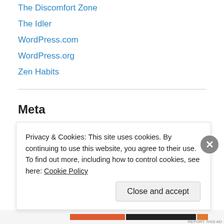The Discomfort Zone
The Idler
WordPress.com
WordPress.org
Zen Habits
Meta
Register
Log in
Entries feed
Comments feed
WordPress.com
Privacy & Cookies: This site uses cookies. By continuing to use this website, you agree to their use.
To find out more, including how to control cookies, see here: Cookie Policy